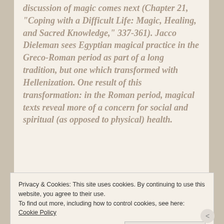discussion of magic comes next (Chapter 21, "Coping with a Difficult Life: Magic, Healing, and Sacred Knowledge," 337-361). Jacco Dieleman sees Egyptian magical practice in the Greco-Roman period as part of a long tradition, but one which transformed with Hellenization. One result of this transformation: in the Roman period, magical texts reveal more of a concern for social and spiritual (as opposed to physical) health.
Privacy & Cookies: This site uses cookies. By continuing to use this website, you agree to their use.
To find out more, including how to control cookies, see here: Cookie Policy
Close and accept